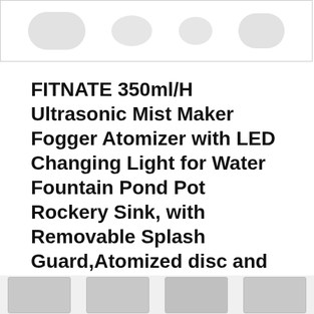[Figure (photo): Product image strip showing white/grey pill-shaped and round objects on white background with border]
FITNATE 350ml/H Ultrasonic Mist Maker Fogger Atomizer with LED Changing Light for Water Fountain Pond Pot Rockery Sink, with Removable Splash Guard,Atomized disc and Changing Tools
#ad
As an Amazon Associate I earn from qualifying purchases. This website uses the only necessary cookies to ensure you get the best experience on our website. More information
[Figure (photo): Bottom row of product thumbnail images partially visible]